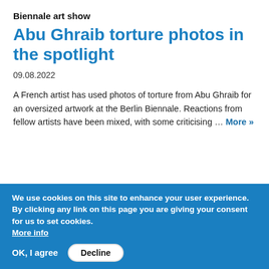Biennale art show
Abu Ghraib torture photos in the spotlight
09.08.2022
A French artist has used photos of torture from Abu Ghraib for an oversized artwork at the Berlin Biennale. Reactions from fellow artists have been mixed, with some criticising ... More »
[Figure (photo): Three people in close-up conversation, one with white hair, one with black turban, one with glasses.]
We use cookies on this site to enhance your user experience. By clicking any link on this page you are giving your consent for us to set cookies. More info
OK, I agree   Decline